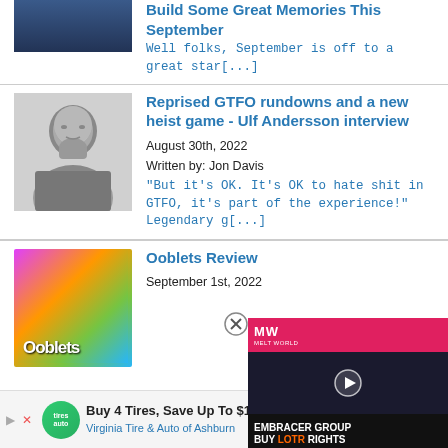Build Some Great Memories This September
Well folks, September is off to a great star[...]
[Figure (photo): Black and white portrait photo of a bald bearded man]
Reprised GTFO rundowns and a new heist game - Ulf Andersson interview
August 30th, 2022
Written by: Jon Davis
"But it's OK. It's OK to hate shit in GTFO, it's part of the experience!"  Legendary g[...]
[Figure (screenshot): Ooblets game thumbnail with colorful cartoon art and Ooblets logo]
Ooblets Review
September 1st, 2022
[Figure (screenshot): Video overlay: MW logo on red background, dark video frame with play button, text EMBRACER GROUP BUY LOTR RIGHTS]
Buy 4 Tires, Save Up To $110
Virginia Tire & Auto of Ashburn